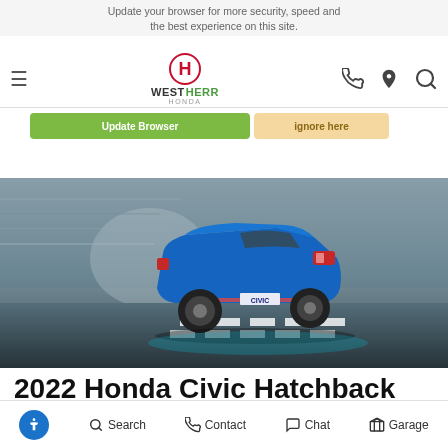Update your browser for more security, speed and the best experience on this site. West Herr Honda of Canandaigua
[Figure (screenshot): West Herr Honda of Canandaigua dealership website navigation bar with Honda logo, West Herr brand name, phone, location, and search icons. Update browser banner with green 'Update Browser' button and tan 'ignore here' button overlay.]
[Figure (photo): Blue 2022 Honda Civic Hatchback photographed from rear three-quarter view, driving fast through a tunnel environment with motion blur effects.]
2022 Honda Civic Hatchback
Search  Contact  Chat  Garage